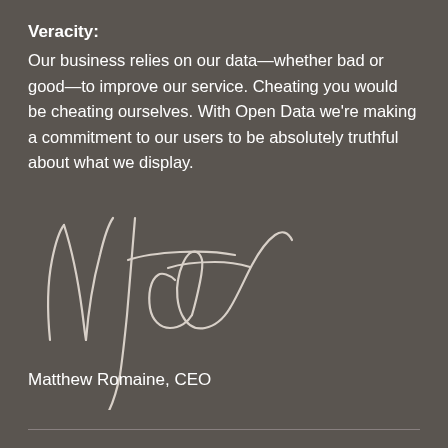Veracity: Our business relies on our data—whether bad or good—to improve our service. Cheating you would be cheating ourselves. With Open Data we're making a commitment to our users to be absolutely truthful about what we display.
[Figure (illustration): Handwritten signature of Matthew Romaine, CEO]
Matthew Romaine, CEO